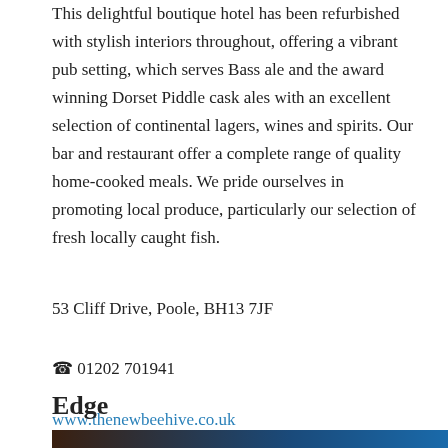This delightful boutique hotel has been refurbished with stylish interiors throughout, offering a vibrant pub setting, which serves Bass ale and the award winning Dorset Piddle cask ales with an excellent selection of continental lagers, wines and spirits. Our bar and restaurant offer a complete range of quality home-cooked meals. We pride ourselves in promoting local produce, particularly our selection of fresh locally caught fish.
53 Cliff Drive, Poole, BH13 7JF
☎ 01202 701941
www.thenewbeehive.co.uk
Edge
[Figure (photo): Partial view of a photo strip at the bottom of the page showing what appears to be an interior or exterior scene with dark brown and blue tones.]